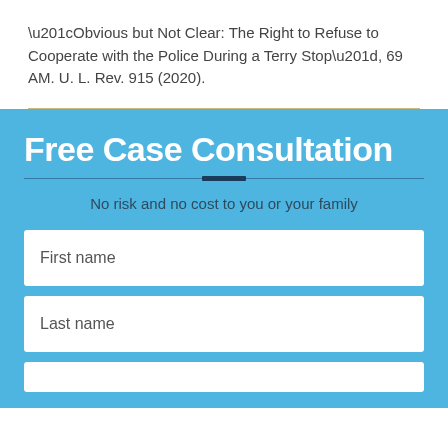“Obvious but Not Clear: The Right to Refuse to Cooperate with the Police During a Terry Stop”, 69 AM. U. L. Rev. 915 (2020).
Free Case Consultation
No risk and no cost to you or your family
First name
Last name